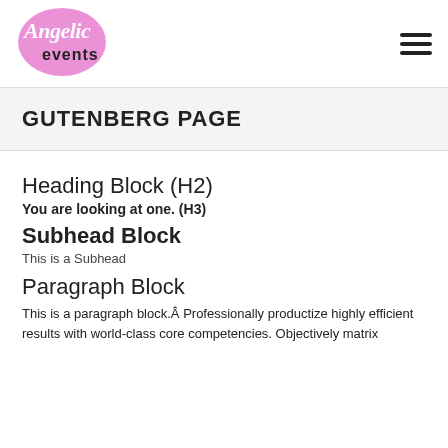[Figure (logo): Angelic Events logo with pink heart and stylized script text]
GUTENBERG PAGE
Heading Block (H2)
You are looking at one. (H3)
Subhead Block
This is a Subhead
Paragraph Block
This is a paragraph block.Â Professionally productize highly efficient results with world-class core competencies. Objectively matrix